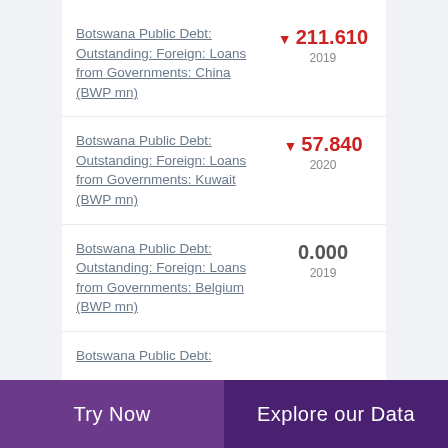Botswana Public Debt: Outstanding: Foreign: Loans from Governments: China (BWP mn)
Botswana Public Debt: Outstanding: Foreign: Loans from Governments: Kuwait (BWP mn)
Botswana Public Debt: Outstanding: Foreign: Loans from Governments: Belgium (BWP mn)
Botswana Public Debt:
Try Now | Explore our Data